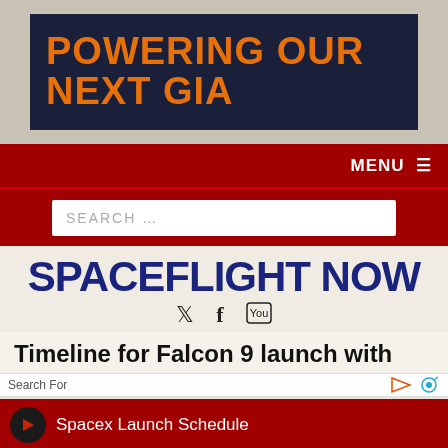[Figure (logo): Banner with dark navy background and bold orange text 'POWERING OUR NEXT GIA']
MENU ≡
SEARCH …
SPACEFLIGHT NOW
[Figure (infographic): Social media icons: Twitter bird, Facebook f, YouTube logo]
Timeline for Falcon 9 launch with
Search For
Spacex Launch Schedule
Upcoming Rocket Launches